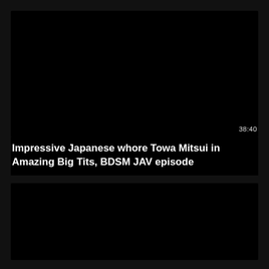[Figure (screenshot): Black video thumbnail rectangle (top)]
38:40
Impressive Japanese whore Towa Mitsui in Amazing Big Tits, BDSM JAV episode
[Figure (screenshot): Black video thumbnail rectangle (bottom)]